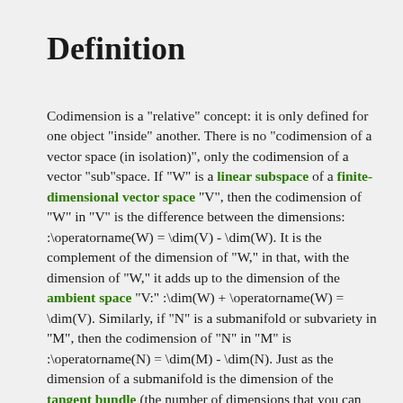Definition
Codimension is a "relative" concept: it is only defined for one object "inside" another. There is no “codimension of a vector space (in isolation)”, only the codimension of a vector "sub"space. If "W" is a linear subspace of a finite-dimensional vector space "V", then the codimension of "W" in "V" is the difference between the dimensions: :\operatorname(W) = \dim(V) - \dim(W). It is the complement of the dimension of "W," in that, with the dimension of "W," it adds up to the dimension of the ambient space "V:" :\dim(W) + \operatorname(W) = \dim(V). Similarly, if "N" is a submanifold or subvariety in "M", then the codimension of "N" in "M" is :\operatorname(N) = \dim(M) - \dim(N). Just as the dimension of a submanifold is the dimension of the tangent bundle (the number of dimensions that you can move "on" the submanifold), the codimension is the dimension of the normal bundle (the number of dimensions you can